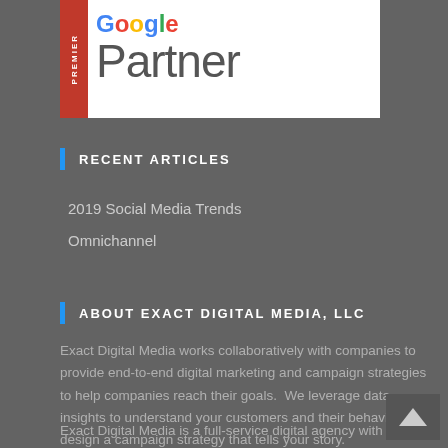[Figure (logo): Google Premier Partner logo — white background with red vertical bar on left reading 'PREMIER', Google wordmark in multicolor, and 'Partner' text in gray below]
RECENT ARTICLES
2019 Social Media Trends
Omnichannel
ABOUT EXACT DIGITAL MEDIA, LLC
Exact Digital Media works collaboratively with companies to provide end-to-end digital marketing and campaign strategies to help companies reach their goals.  We leverage data insights to understand your customers and their behaviors to design a campaign strategy that tells your story.
Exact Digital Media is a full-service digital agency with